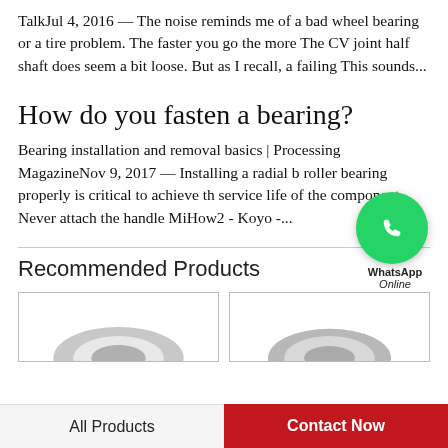TalkJul 4, 2016 — The noise reminds me of a bad wheel bearing or a tire problem. The faster you go the more The CV joint half shaft does seem a bit loose. But as I recall, a failing This sounds...
How do you fasten a bearing?
Bearing installation and removal basics | Processing MagazineNov 9, 2017 — Installing a radial b roller bearing properly is critical to achieve th service life of the component. Never attach the handle MiHow2 - Koyo -...
[Figure (other): WhatsApp Online chat bubble icon with phone icon]
Recommended Products
[Figure (photo): Product card showing a bearing component (left)]
[Figure (photo): Product card showing a bearing component (right)]
All Products | Contact Now